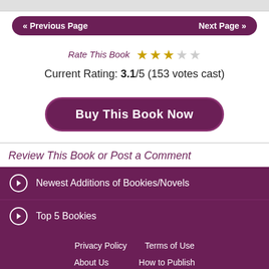«  Previous Page    Next Page  »
Rate This Book  ★★★☆☆
Current Rating: 3.1/5 (153 votes cast)
Buy This Book Now
Review This Book or Post a Comment
Newest Additions of Bookies/Novels
Top 5 Bookies
Privacy Policy   Terms of Use
About Us   How to Publish